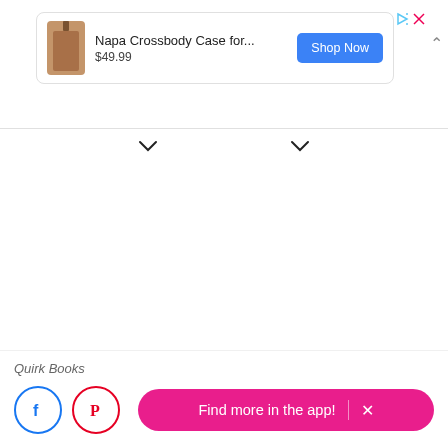[Figure (screenshot): Advertisement banner for Napa Crossbody Case with product image, price $49.99, Shop Now button, and ad control icons]
[Figure (screenshot): Two small dropdown chevron icons below a horizontal divider line]
Quirk Books
[Figure (screenshot): Social media icons: Facebook (blue circle) and Pinterest (red circle), plus a pink 'Find more in the app!' button with X close icon]